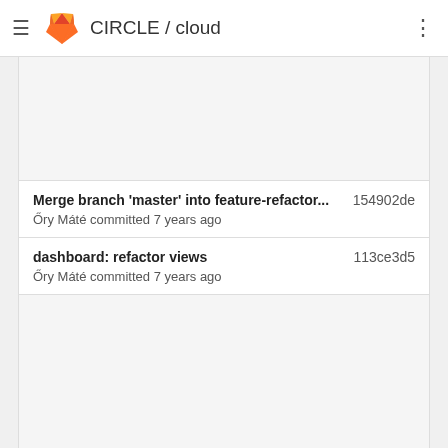CIRCLE / cloud
Merge branch 'master' into feature-refactor... 154902de
Őry Máté committed 7 years ago
dashboard: refactor views 113ce3d5
Őry Máté committed 7 years ago